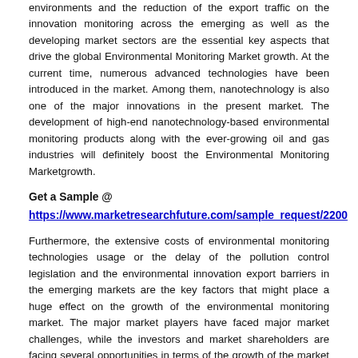environments and the reduction of the export traffic on the innovation monitoring across the emerging as well as the developing market sectors are the essential key aspects that drive the global Environmental Monitoring Market growth. At the current time, numerous advanced technologies have been introduced in the market. Among them, nanotechnology is also one of the major innovations in the present market. The development of high-end nanotechnology-based environmental monitoring products along with the ever-growing oil and gas industries will definitely boost the Environmental Monitoring Marketgrowth.
Get a Sample @
https://www.marketresearchfuture.com/sample_request/2200
Furthermore, the extensive costs of environmental monitoring technologies usage or the delay of the pollution control legislation and the environmental innovation export barriers in the emerging markets are the key factors that might place a huge effect on the growth of the environmental monitoring market. The major market players have faced major market challenges, while the investors and market shareholders are facing several opportunities in terms of the growth of the market sectors. At the same time, the outbreak of COVID-19 has changed the entire global market. Governments from several regions have implemented strict lockdown procedures. Most investors and key shareholders have been facing a huge